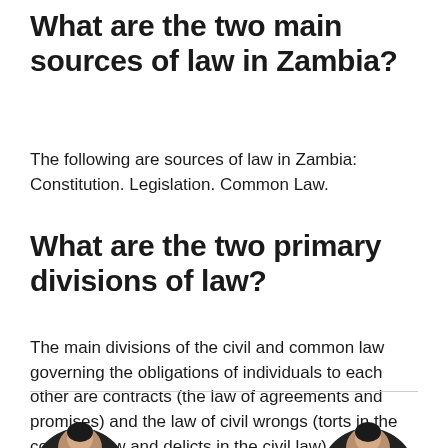What are the two main sources of law in Zambia?
The following are sources of law in Zambia: Constitution. Legislation. Common Law.
What are the two primary divisions of law?
The main divisions of the civil and common law governing the obligations of individuals to each other are contracts (the law of agreements and promises) and the law of civil wrongs (torts in the common law and delicts in the civil law).
[Figure (photo): Two partial photos of people at the bottom of the page, one on the left and one on the right, appearing to be headshots cut off by the page edge]